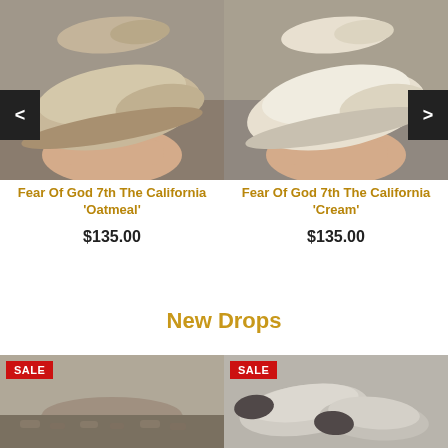[Figure (photo): Fear Of God 7th The California 'Oatmeal' shoe held in hand, photographed against concrete background]
[Figure (photo): Fear Of God 7th The California 'Cream' shoe held in hand, photographed against concrete background]
Fear Of God 7th The California 'Oatmeal'
$135.00
Fear Of God 7th The California 'Cream'
$135.00
New Drops
[Figure (photo): Sneaker product image with SALE badge]
[Figure (photo): Sneaker product image with SALE badge]